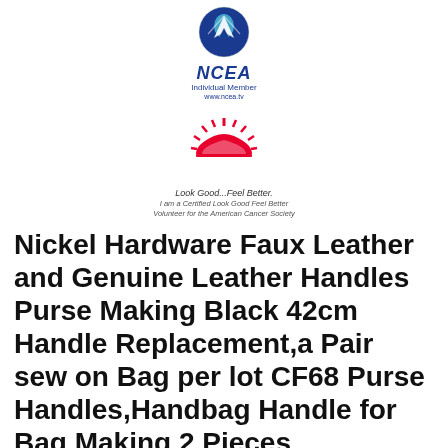[Figure (logo): NCEA Individual Member logo with blue eagle/shield emblem, text 'NCEA' in blue italic, 'Individual Member' and 'www.ncea.tv' below]
[Figure (logo): Look Good...Feel Better logo with red sunburst/fan graphic, tagline 'Look Good...Feel Better.' and text 'I am a Certified Look Good Feel Better Volunteer for the American Cancer Society']
Nickel Hardware Faux Leather and Genuine Leather Handles Purse Making Black 42cm Handle Replacement,a Pair sew on Bag per lot CF68 Purse Handles,Handbag Handle for Bag Making 2 Pieces
Cressi Unisex-Youth Mini Light Fins for Snorkeling and Swim, large Prestige Wicker Decorations Dark willow. New Look Ladies Sewing Pattern 6451 Blouse with Length & Sleeve Variations. RHoet 2Pcs Left+Right License Plate Light Lamp Lens 8E0807430A